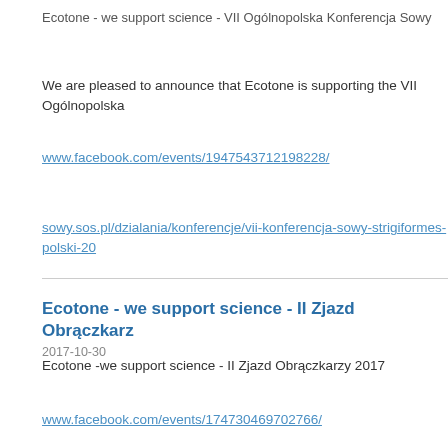Ecotone - we support science - VII Ogólnopolska Konferencja Sowy
We are pleased to announce that Ecotone is supporting the VII Ogólnopolska
www.facebook.com/events/1947543712198228/
sowy.sos.pl/dzialania/konferencje/vii-konferencja-sowy-strigiformes-polski-20
Ecotone - we support science - II Zjazd Obrączkarz
2017-10-30
Ecotone -we support science - II Zjazd Obrączkarzy 2017
www.facebook.com/events/174730469702766/